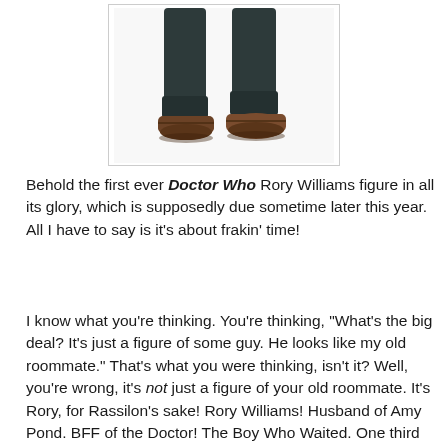[Figure (illustration): Lower half of a Doctor Who Rory Williams action figure showing dark jeans and brown shoes/boots against a white background, shown from approximately knee level down.]
Behold the first ever Doctor Who Rory Williams figure in all its glory, which is supposedly due sometime later this year. All I have to say is it's about frakin' time!
I know what you're thinking. You're thinking, "What's the big deal? It's just a figure of some guy. He looks like my old roommate." That's what you were thinking, isn't it? Well, you're wrong, it's not just a figure of your old roommate. It's Rory, for Rassilon's sake! Rory Williams! Husband of Amy Pond. BFF of the Doctor! The Boy Who Waited. One third of Team TARDIS! The coolest companion the show's ever had! I mean, the guy's name  (well, the actor who plays him anyway) is in the title sequence after all. It's a crime that it's taken this long to get a Rory figure. A crime, I tell you.